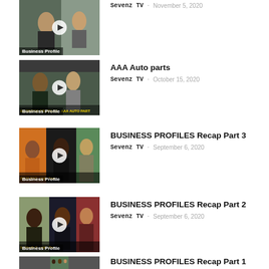[Figure (screenshot): Video thumbnail with play button, labeled 'Business Profile', showing people outdoors]
Sevenz TV · November 5, 2020
[Figure (screenshot): Video thumbnail with play button, labeled 'Business Profile', showing people at auto parts store]
AAA Auto parts
Sevenz TV · October 15, 2020
[Figure (screenshot): Video thumbnail with play button, labeled 'Business Profile', showing group of people]
BUSINESS PROFILES Recap Part 3
Sevenz TV · September 6, 2020
[Figure (screenshot): Video thumbnail with play button, labeled 'Business Profile', showing group of people]
BUSINESS PROFILES Recap Part 2
Sevenz TV · September 6, 2020
[Figure (screenshot): Video thumbnail with play button, labeled 'Business Profile', showing people]
BUSINESS PROFILES Recap Part 1